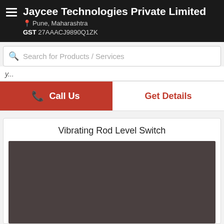Jaycee Technologies Private Limited | Pune, Maharashtra | GST 27AAACJ9890Q1ZK
Search for Products / Services
Call Us
Get Details
Vibrating Rod Level Switch
[Figure (photo): Product image placeholder for Vibrating Rod Level Switch — dark brownish-gray rectangle]